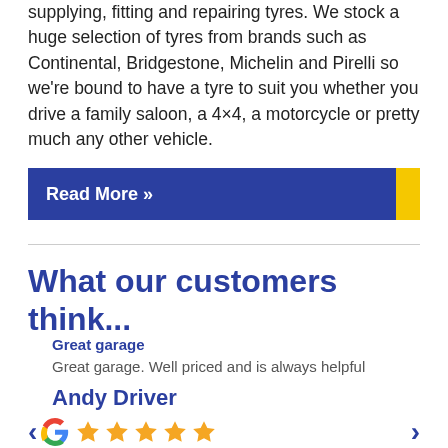supplying, fitting and repairing tyres. We stock a huge selection of tyres from brands such as Continental, Bridgestone, Michelin and Pirelli so we're bound to have a tyre to suit you whether you drive a family saloon, a 4×4, a motorcycle or pretty much any other vehicle.
Read More »
What our customers think...
Great garage
Great garage. Well priced and is always helpful
Andy Driver
[Figure (other): Google G logo with 5 orange stars rating, with left and right navigation arrows]